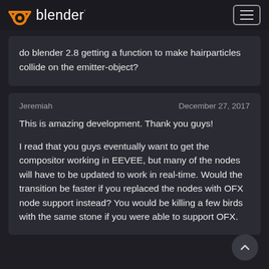Blender
do blender 2.8 getting a function to make hairparticles collide on the emitter-object?
Jeremiah
December 27, 2017
This is amazing development. Thank you guys!

I read that you guys eventually want to get the compositor working in EEVEE, but many of the nodes will have to be updated to work in real-time. Would the transition be faster if you replaced the nodes with OFX node support instead? You would be killing a few birds with the same stone if you were able to support OFX.